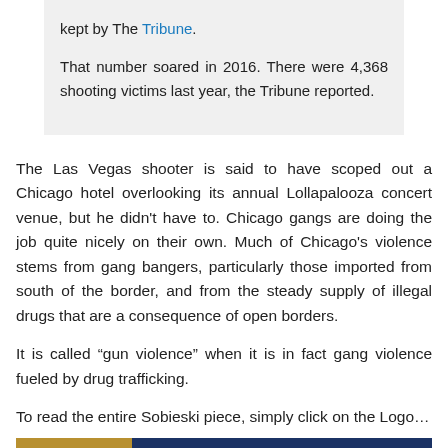kept by The Tribune.
That number soared in 2016. There were 4,368 shooting victims last year, the Tribune reported.
The Las Vegas shooter is said to have scoped out a Chicago hotel overlooking its annual Lollapalooza concert venue, but he didn't have to. Chicago gangs are doing the job quite nicely on their own. Much of Chicago's violence stems from gang bangers, particularly those imported from south of the border, and from the steady supply of illegal drugs that are a consequence of open borders.
It is called “gun violence” when it is in fact gang violence fueled by drug trafficking.
To read the entire Sobieski piece, simply click on the Logo…
[Figure (photo): Partial image strip at bottom showing gold/brown and dark blue colors, likely a logo or banner image.]